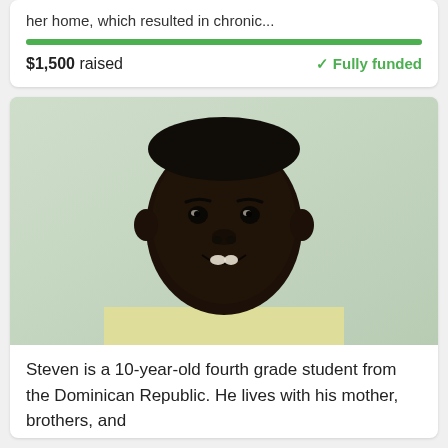her home, which resulted in chronic...
$1,500 raised
✓Fully funded
[Figure (photo): Portrait photo of Steven, a 10-year-old boy from the Dominican Republic, smiling at the camera. He is wearing a light yellow polo shirt. Background is a pale green/mint wall.]
Steven is a 10-year-old fourth grade student from the Dominican Republic. He lives with his mother, brothers, and